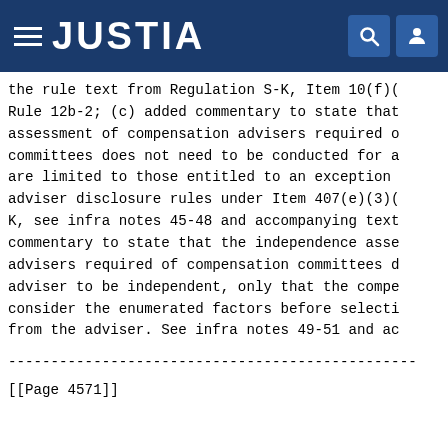JUSTIA
the rule text from Regulation S-K, Item 10(f)( Rule 12b-2; (c) added commentary to state tha assessment of compensation advisers required committees does not need to be conducted for are limited to those entitled to an exception adviser disclosure rules under Item 407(e)(3) K, see infra notes 45-48 and accompanying te commentary to state that the independence ass advisers required of compensation committees adviser to be independent, only that the comp consider the enumerated factors before select from the adviser. See infra notes 49-51 and
------------------------------------------------
[[Page 4571]]